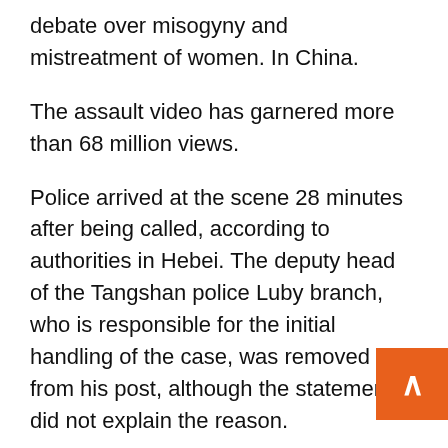debate over misogyny and mistreatment of women. In China.
The assault video has garnered more than 68 million views.
Police arrived at the scene 28 minutes after being called, according to authorities in Hebei. The deputy head of the Tangshan police Luby branch, who is responsible for the initial handling of the case, was removed from his post, although the statement did not explain the reason.
The footage shows a man approaching a table where three women are sitting and placing his hand on the back of one of the women. The woman asked him what he wanted before shouting “You’re sick” and slapping his hand.